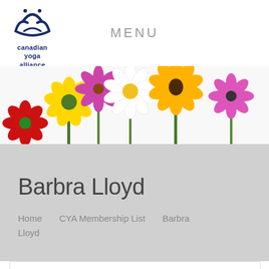[Figure (logo): Canadian Yoga Alliance logo: stylized lotus/person icon in navy blue above text 'canadian yoga alliance']
MENU
[Figure (photo): Banner photo of colorful flowers including red, yellow, pink, purple, and white daisies/gerberas on a white background]
Barbra Lloyd
Home  CYA Membership List  Barbra Lloyd